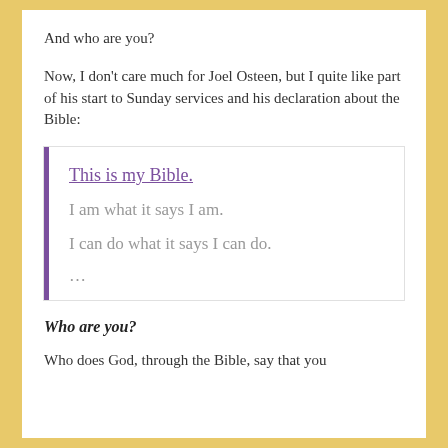And who are you?
Now, I don't care much for Joel Osteen, but I quite like part of his start to Sunday services and his declaration about the Bible:
This is my Bible.
I am what it says I am.
I can do what it says I can do.
...
Who are you?
Who does God, through the Bible, say that you